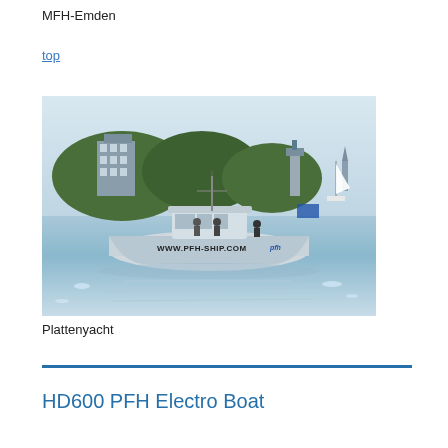MFH-Emden
top
[Figure (photo): A flat-top boat labeled 'WWW.PFH-SHIP.COM' on a body of water with trees, a multi-story building, a lighthouse-like structure, and sailboats in the background.]
Plattenyacht
HD600 PFH Electro Boat